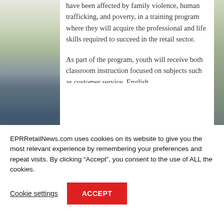[Figure (photo): Left-side vertical image strip showing retail/store scene, partially visible]
have been affected by family violence, human trafficking, and poverty, in a training program where they will acquire the professional and life skills required to succeed in the retail sector.
As part of the program, youth will receive both classroom instruction focused on subjects such as customer service, English
EPRRetailNews.com uses cookies on its website to give you the most relevant experience by remembering your preferences and repeat visits. By clicking “Accept”, you consent to the use of ALL the cookies.
Cookie settings
ACCEPT